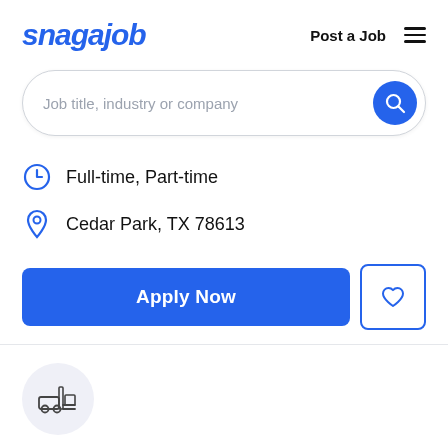snagajob | Post a Job
[Figure (screenshot): Search bar with placeholder text 'Job title, industry or company' and a blue circular search button]
Full-time, Part-time
Cedar Park, TX 78613
[Figure (other): Apply Now blue button and a heart/save button]
[Figure (other): Company icon circle with forklift/warehouse icon]
Seasoned